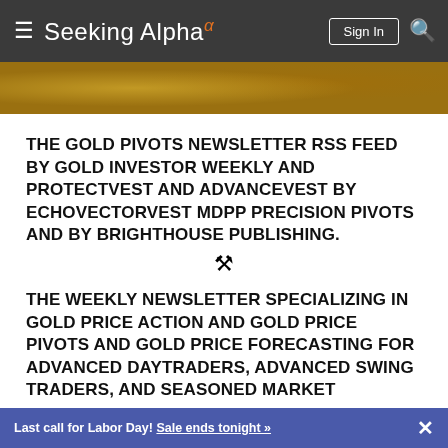Seeking Alpha — Sign In
[Figure (photo): Close-up photograph of gold coins with embossed lettering and designs, golden brown tones]
THE GOLD PIVOTS NEWSLETTER RSS FEED BY GOLD INVESTOR WEEKLY AND PROTECTVEST AND ADVANCEVEST BY ECHOVECTORVEST MDPP PRECISION PIVOTS AND BY BRIGHTHOUSE PUBLISHING.
[Figure (illustration): Tools/settings icon (wrench and screwdriver crossed)]
THE WEEKLY NEWSLETTER SPECIALIZING IN GOLD PRICE ACTION AND GOLD PRICE PIVOTS AND GOLD PRICE FORECASTING FOR ADVANCED DAYTRADERS, ADVANCED SWING TRADERS, AND SEASONED MARKET
Last call for Labor Day! Sale ends tonight »